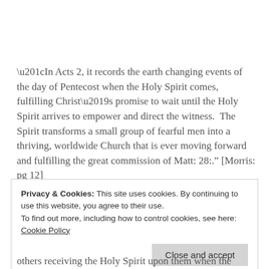“In Acts 2, it records the earth changing events of the day of Pentecost when the Holy Spirit comes, fulfilling Christ’s promise to wait until the Holy Spirit arrives to empower and direct the witness.  The Spirit transforms a small group of fearful men into a thriving, worldwide Church that is ever moving forward and fulfilling the great commission of Matt: 28:." [Morris: pg 12]
Privacy & Cookies: This site uses cookies. By continuing to use this website, you agree to their use. To find out more, including how to control cookies, see here: Cookie Policy
others receiving the Holy Spirit upon them when the